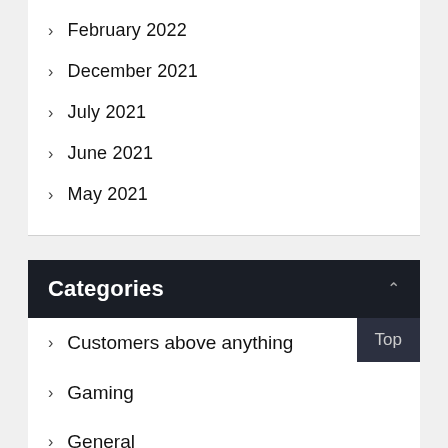February 2022
December 2021
July 2021
June 2021
May 2021
Categories
Customers above anything
Gaming
General